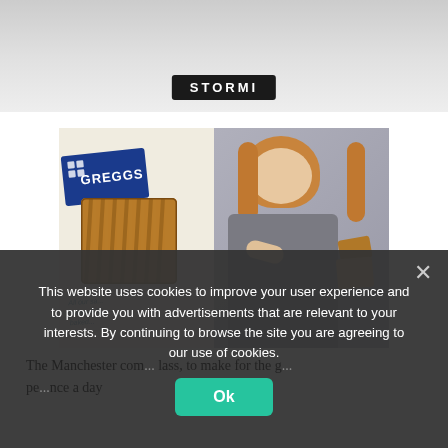[Figure (photo): Partial top image showing a dark label with 'STORMI' text, white/grey background, top portion cropped]
[Figure (photo): Two-panel photo: left panel shows a Greggs bakery pastry on a white paper bag with Greggs logo; right panel shows a young woman with long auburn hair wearing a grey turtleneck, holding and examining a pastry]
This website uses cookies to improve your user experience and to provide you with advertisements that are relevant to your interests. By continuing to browse the site you are agreeing to our use of cookies.
The Manchester com... lass, to make for the pe...nce a day